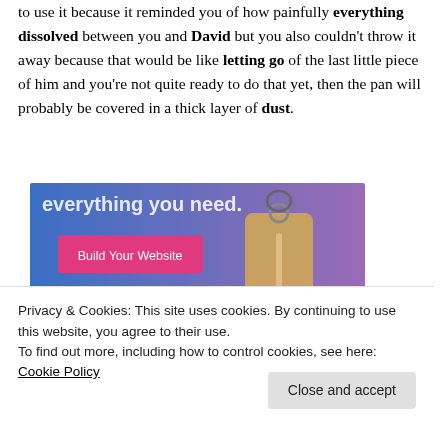engagement present and you couldn't bring yourself to use it because it reminded you of how painfully everything dissolved between you and David but you also couldn't throw it away because that would be like letting go of the last little piece of him and you're not quite ready to do that yet, then the pan will probably be covered in a thick layer of dust.
[Figure (infographic): Website builder advertisement with blue-to-purple gradient background, text 'everything you need.' in white, a pink 'Build Your Website' button, and a tan luggage tag graphic on the right.]
Privacy & Cookies: This site uses cookies. By continuing to use this website, you agree to their use.
To find out more, including how to control cookies, see here: Cookie Policy
Close and accept